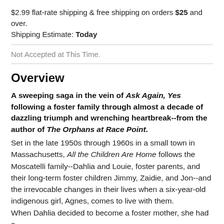$2.99 flat-rate shipping & free shipping on orders $25 and over. Shipping Estimate: Today
Not Accepted at This Time.
Overview
A sweeping saga in the vein of Ask Again, Yes following a foster family through almost a decade of dazzling triumph and wrenching heartbreak--from the author of The Orphans at Race Point. Set in the late 1950s through 1960s in a small town in Massachusetts, All the Children Are Home follows the Moscatelli family--Dahlia and Louie, foster parents, and their long-term foster children Jimmy, Zaidie, and Jon--and the irrevocable changes in their lives when a six-year-old indigenous girl, Agnes, comes to live with them. When Dahlia decided to become a foster mother, she had a